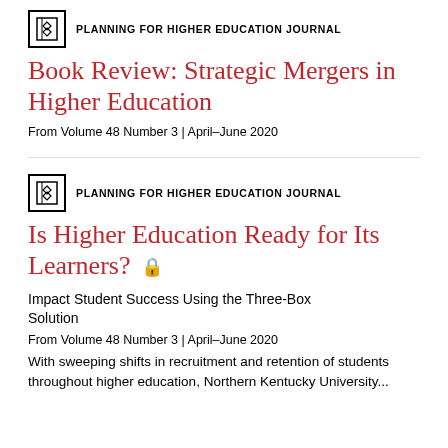PLANNING FOR HIGHER EDUCATION JOURNAL
Book Review: Strategic Mergers in Higher Education
From Volume 48 Number 3 | April–June 2020
PLANNING FOR HIGHER EDUCATION JOURNAL
Is Higher Education Ready for Its Learners? 🔒
Impact Student Success Using the Three-Box Solution
From Volume 48 Number 3 | April–June 2020
With sweeping shifts in recruitment and retention of students throughout higher education, Northern Kentucky University...